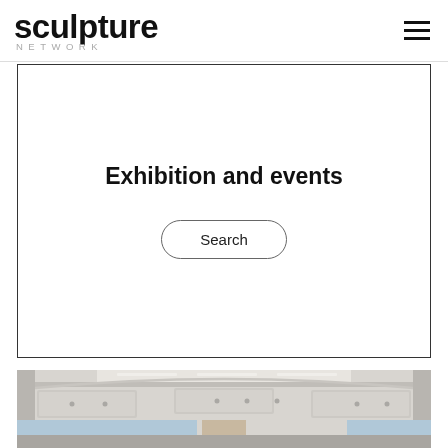sculpture NETWORK
Exhibition and events
Search
[Figure (photo): Interior of a vehicle or bus showing ceiling, overhead compartments, and windows with curtains, in grey and neutral tones]